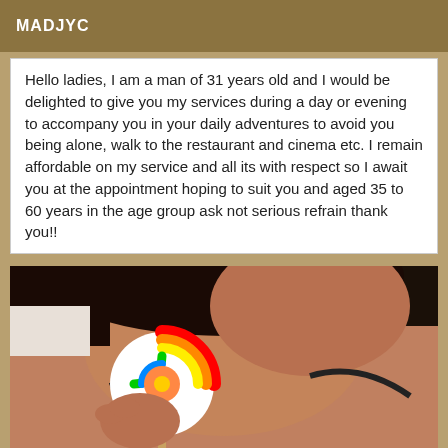MADJYC
Hello ladies, I am a man of 31 years old and I would be delighted to give you my services during a day or evening to accompany you in your daily adventures to avoid you being alone, walk to the restaurant and cinema etc. I remain affordable on my service and all its with respect so I await you at the appointment hoping to suit you and aged 35 to 60 years in the age group ask not serious refrain thank you!!
[Figure (photo): Close-up photo of a woman holding a colorful rainbow lollipop]